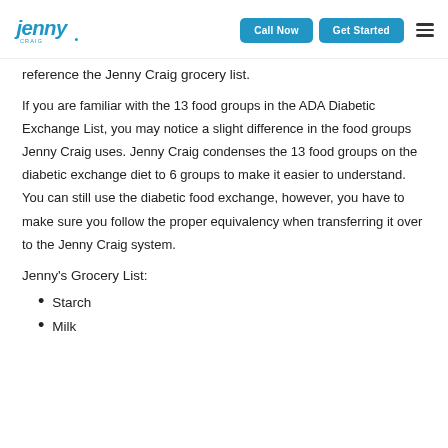Jenny Craig | Call Now | Get Started
reference the Jenny Craig grocery list.
If you are familiar with the 13 food groups in the ADA Diabetic Exchange List, you may notice a slight difference in the food groups Jenny Craig uses. Jenny Craig condenses the 13 food groups on the diabetic exchange diet to 6 groups to make it easier to understand. You can still use the diabetic food exchange, however, you have to make sure you follow the proper equivalency when transferring it over to the Jenny Craig system.
Jenny's Grocery List:
Starch
Milk